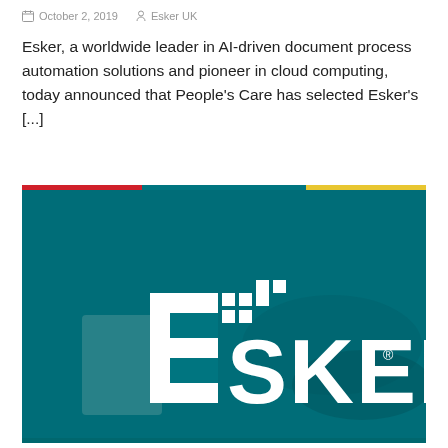October 2, 2019   Esker UK
Esker, a worldwide leader in AI-driven document process automation solutions and pioneer in cloud computing, today announced that People's Care has selected Esker's [...]
[Figure (logo): Esker logo on a teal/dark cyan background with a person working at a laptop, showing the ESKER wordmark in white with pixel/dot graphic element]